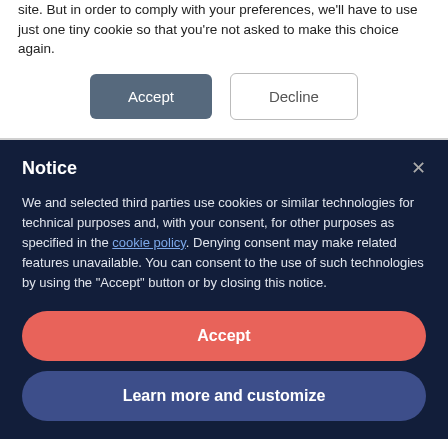site. But in order to comply with your preferences, we'll have to use just one tiny cookie so that you're not asked to make this choice again.
Accept | Decline
Notice
We and selected third parties use cookies or similar technologies for technical purposes and, with your consent, for other purposes as specified in the cookie policy. Denying consent may make related features unavailable. You can consent to the use of such technologies by using the "Accept" button or by closing this notice.
Accept
Learn more and customize